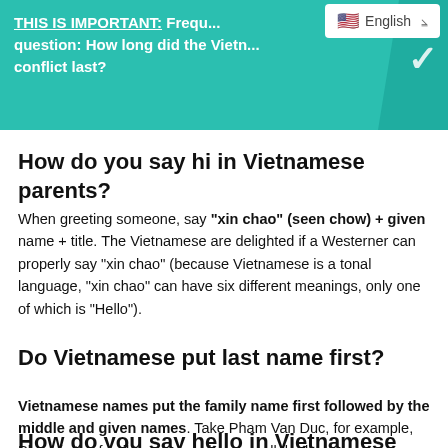THIS IS IMPORTANT: Frequently asked question: How long did the Vietnam... conflict last?
How do you say hi in Vietnamese parents?
When greeting someone, say "xin chao" (seen chow) + given name + title. The Vietnamese are delighted if a Westerner can properly say "xin chao" (because Vietnamese is a tonal language, "xin chao" can have six different meanings, only one of which is "Hello").
Do Vietnamese put last name first?
Vietnamese names put the family name first followed by the middle and given names. Take Pham Van Duc, for example, Pham is the family name or what we call the last name.
How do you say hello in Vietnamese parents?